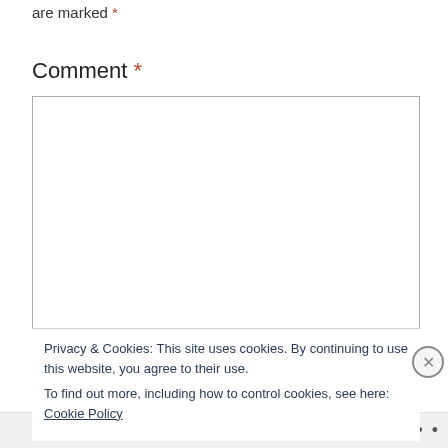are marked *
Comment *
[Figure (screenshot): Empty comment text area input box with border]
Privacy & Cookies: This site uses cookies. By continuing to use this website, you agree to their use.
To find out more, including how to control cookies, see here: Cookie Policy
Close and accept
Follow